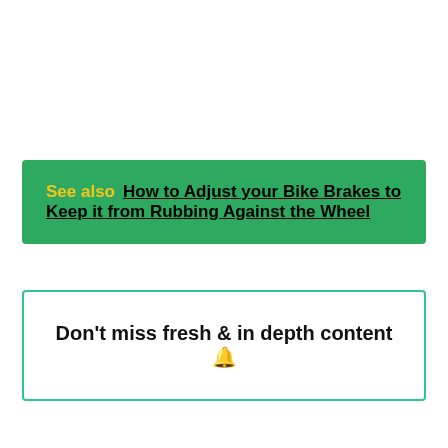See also   How to Adjust your Bike Brakes to Keep it from Rubbing Against the Wheel
Don't miss fresh & in depth content 🔔